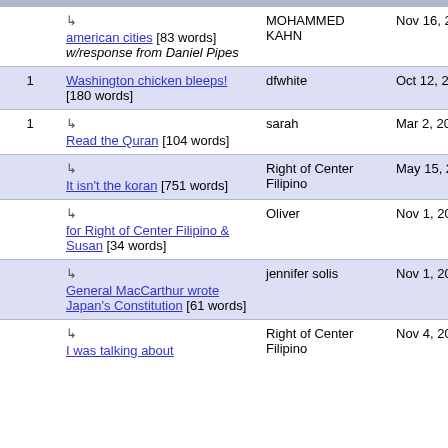| # | Title | Author | Date |
| --- | --- | --- | --- |
|  | ↳ american cities [83 words] w/response from Daniel Pipes | MOHAMMED KAHN | Nov 16, 2009 08:40 |
| 1 | Washington chicken bleeps! [180 words] | dfwhite | Oct 12, 2006 20:53 |
| 1 | ↳ Read the Quran [104 words] | sarah | Mar 2, 2007 19:33 |
|  | ↳ It isn't the koran [751 words] | Right of Center Filipino | May 15, 2007 02:01 |
|  | ↳ for Right of Center Filipino & Susan [34 words] | Oliver | Nov 1, 2007 11:58 |
|  | ↳ General MacCarthur wrote Japan's Constitution [61 words] | jennifer solis | Nov 1, 2007 17:58 |
|  | ↳ I was talking about... | Right of Center Filipino | Nov 4, 2007 |